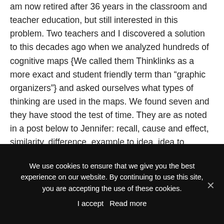am now retired after 36 years in the classroom and teacher education, but still interested in this problem. Two teachers and I discovered a solution to this decades ago when we analyzed hundreds of cognitive maps {We called them Thinklinks as a more exact and student friendly term than “graphic organizers”} and asked ourselves what types of thinking are used in the maps. We found seven and they have stood the test of time. They are as noted in a post below to Jennifer: recall, cause and effect, similarity, difference, example to idea, idea to example
We use cookies to ensure that we give you the best experience on our website. By continuing to use this site, you are accepting the use of these cookies.
I accept   Read more